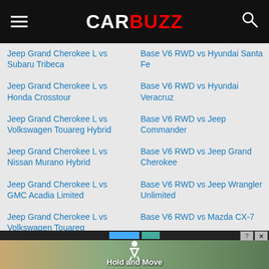CARBUZZ
Jeep Grand Cherokee L vs Subaru Tribeca
Jeep Grand Cherokee L vs Honda Crosstour
Jeep Grand Cherokee L vs Volkswagen Touareg Hybrid
Jeep Grand Cherokee L vs Nissan Murano Hybrid
Jeep Grand Cherokee L vs GMC Acadia Limited
Jeep Grand Cherokee L vs Volkswagen Touareg
Base V6 RWD vs Hyundai Santa Fe
Base V6 RWD vs Hyundai Veracruz
Base V6 RWD vs Jeep Commander
Base V6 RWD vs Jeep Grand Cherokee
Base V6 RWD vs Jeep Wrangler Unlimited
Base V6 RWD vs Mazda CX-7
[Figure (screenshot): Advertisement banner at the bottom with 'Hold and Move' text over a landscape/forest background]